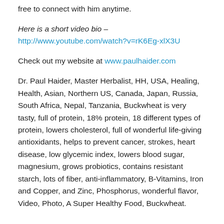free to connect with him anytime.
Here is a short video bio – http://www.youtube.com/watch?v=rK6Eg-xlX3U
Check out my website at www.paulhaider.com
Dr. Paul Haider, Master Herbalist, HH, USA, Healing, Health, Asian, Northern US, Canada, Japan, Russia, South Africa, Nepal, Tanzania, Buckwheat is very tasty, full of protein, 18% protein, 18 different types of protein, lowers cholesterol, full of wonderful life-giving antioxidants, helps to prevent cancer, strokes, heart disease, low glycemic index, lowers blood sugar, magnesium, grows probiotics, contains resistant starch, lots of fiber, anti-inflammatory, B-Vitamins, Iron and Copper, and Zinc, Phosphorus, wonderful flavor, Video, Photo, A Super Healthy Food, Buckwheat.